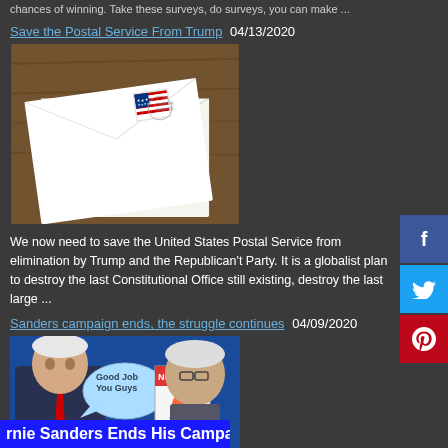chances of winning. Take these surveys, do surveys, you can make ...
Save the Postal Service From Trump 04/13/2020
[Figure (photo): Photo of envelopes with US flag stamps near a wooden surface]
We now need to save the United States Postal Service from elimination by Trump and the Republican't Party. It is a globalist plan to destroy the last Constitutional Office still existing, destroy the last large ...
Sanders campaign ends, the struggle continues 04/09/2020
[Figure (photo): Photo of Biden and Sanders with speech bubbles: 'Good Job You Guys' and 'Now To Give Trump Hell!' with a 'Not Us' sign]
rnie Sanders Ends His Campai